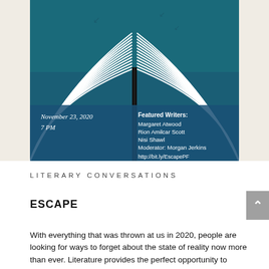[Figure (illustration): An open book illustration on a teal/blue background with white page lines fanning out from the spine. Text overlay on the lower portion shows event details: 'November 23, 2020', '7 PM', 'Featured Writers:', 'Margaret Atwood', 'Rion Amilcar Scott', 'Nisi Shawl', 'Moderator: Morgan Jerkins', 'http://bit.ly/EscapePF']
LITERARY CONVERSATIONS
ESCAPE
With everything that was thrown at us in 2020, people are looking for ways to forget about the state of reality now more than ever. Literature provides the perfect opportunity to escape into new worlds in an attempt to cope with and understand all that happens in